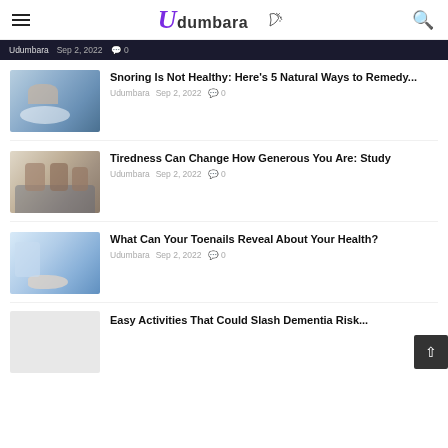Udumbara
Udumbara  Sep 2, 2022  0
Snoring Is Not Healthy: Here's 5 Natural Ways to Remedy...
Udumbara  Sep 2, 2022  0
Tiredness Can Change How Generous You Are: Study
Udumbara  Sep 2, 2022  0
What Can Your Toenails Reveal About Your Health?
Udumbara  Sep 2, 2022  0
Easy Activities That Could Slash Dementia Risk...